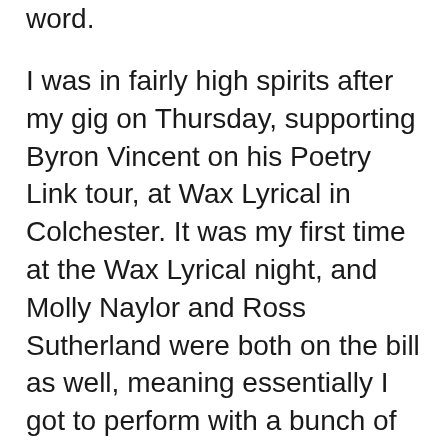word.
I was in fairly high spirits after my gig on Thursday, supporting Byron Vincent on his Poetry Link tour, at Wax Lyrical in Colchester. It was my first time at the Wax Lyrical night, and Molly Naylor and Ross Sutherland were both on the bill as well, meaning essentially I got to perform with a bunch of much-valued chums. The audience were really lovely and I think I did one of the best twenty minute sets I’ve ever done. I felt very at ease and enjoyed just sort of blathering, telling anecdotes and making up my set on the fly. It also provided yet another reminder of the value of decent lead-ins – not only do they set up the poem nicely for the crowd, but I find now that the right sort of preamble